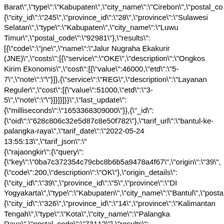Barat","type":"Kabupaten","city_name":"Cirebon","postal_co {"city_id":"245","province_id":"28","province":"Sulawesi Selatan","type":"Kabupaten","city_name":"Luwu Timur","postal_code":"92981"},"results": [{"code":"jne","name":"Jalur Nugraha Ekakurir (JNE)","costs":[{"service":"OKE","description":"Ongkos Kirim Ekonomis","cost":[{"value":46000,"etd":"5-7","note":""}]},{"service":"REG","description":"Layanan Reguler","cost":[{"value":51000,"etd":"3-5","note":""}]}]}]}}","last_update": {"milliseconds":"1653368309000"}},{"_id": {"oid":"628c806c32e5d87c8e50f782"},"tarif_url":"bantul-ke-palangka-raya","tarif_date":"2022-05-24 13:55:13","tarif_json":" {"rajaongkir":{"query": {"key":"0ba7c372354c79cbc8b6b5a9478a4f67","origin":"39", {"code":200,"description":"OK"},"origin_details": {"city_id":"39","province_id":"5","province":"DI Yogyakarta","type":"Kabupaten","city_name":"Bantul","posta {"city_id":"326","province_id":"14","province":"Kalimantan Tengah","type":"Kota","city_name":"Palangka Raya","postal_code":"73112"},"results": [{"code":"jne","name":"Jalur Nugraha Ekakurir (JNE)","costs":[{"service":"OKE","description":"Ongkos Kirim Ekonomis","cost":[{"value":41000,"etd":"5-6","note":""}]},{"service":"REG","description":"Layanan Reguler","cost":[{"value":45000,"etd":"3-